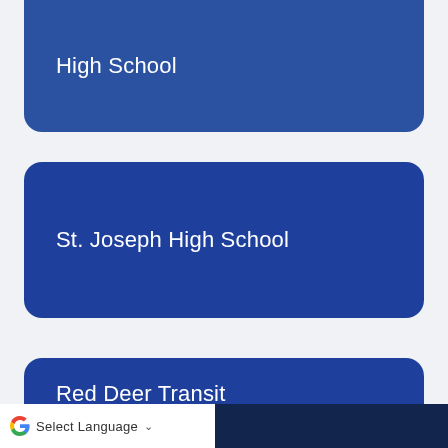High School
St. Joseph High School
Red Deer Transit
G Select Language ∨